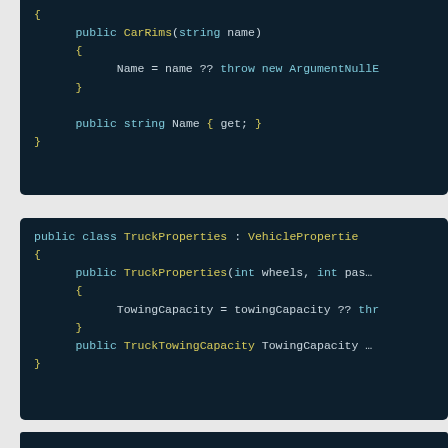[Figure (screenshot): Code snippet showing CarRims class partial view with constructor and Name property in dark blue IDE theme]
[Figure (screenshot): Code snippet showing TruckProperties class inheriting VehicleProperties with constructor and TowingCapacity property in dark blue IDE theme]
[Figure (screenshot): Partial code block at bottom of page, dark blue IDE theme]